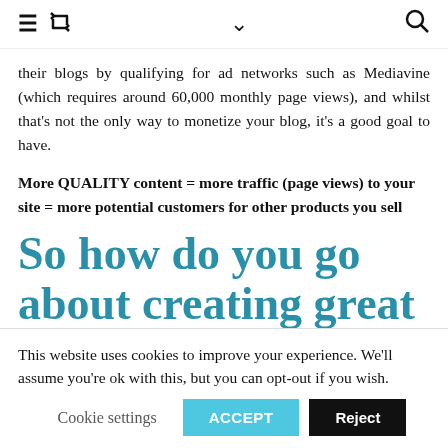≡ 🔁 ∨ 🔍
their blogs by qualifying for ad networks such as Mediavine (which requires around 60,000 monthly page views), and whilst that's not the only way to monetize your blog, it's a good goal to have.
More QUALITY content = more traffic (page views) to your site = more potential customers for other products you sell
So how do you go about creating great
This website uses cookies to improve your experience. We'll assume you're ok with this, but you can opt-out if you wish.
Cookie settings  ACCEPT  Reject